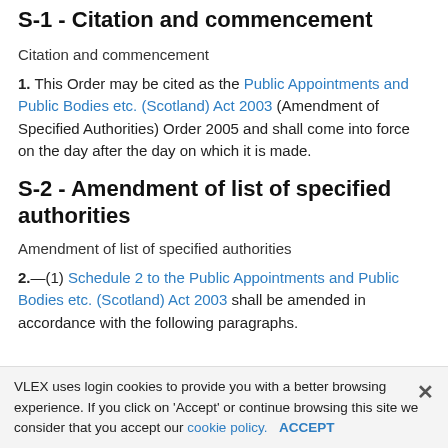S-1 - Citation and commencement
Citation and commencement
1. This Order may be cited as the Public Appointments and Public Bodies etc. (Scotland) Act 2003 (Amendment of Specified Authorities) Order 2005 and shall come into force on the day after the day on which it is made.
S-2 - Amendment of list of specified authorities
Amendment of list of specified authorities
2.—(1) Schedule 2 to the Public Appointments and Public Bodies etc. (Scotland) Act 2003 shall be amended in accordance with the following paragraphs.
VLEX uses login cookies to provide you with a better browsing experience. If you click on 'Accept' or continue browsing this site we consider that you accept our cookie policy. ACCEPT